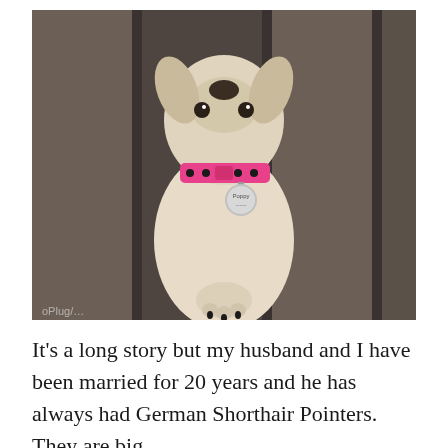[Figure (photo): A white/cream colored dog with a pink and black polka-dot collar and a round metal ID tag, sitting on wooden deck boards and looking up at the camera.]
It's a long story but my husband and I have been married for 20 years and he has always had German Shorthair Pointers. They are big